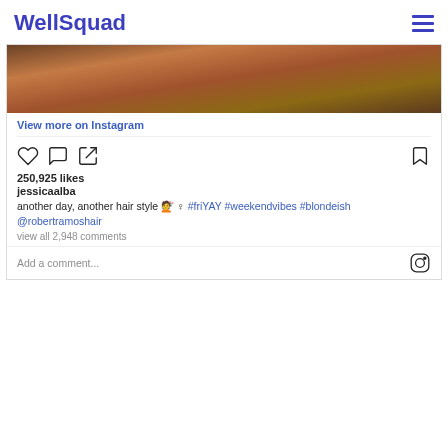WellSquad
[Figure (photo): Partially visible Instagram photo showing a brown/warm-toned background (appears to be a hair/lifestyle photo)]
View more on Instagram
[Figure (infographic): Instagram action icons: heart (like), speech bubble (comment), share arrow, and bookmark]
250,925 likes
jessicaalba
another day, another hair style 💇♀ #friYAY #weekendvibes #blondeish @robertramoshair
view all 2,948 comments
Add a comment...